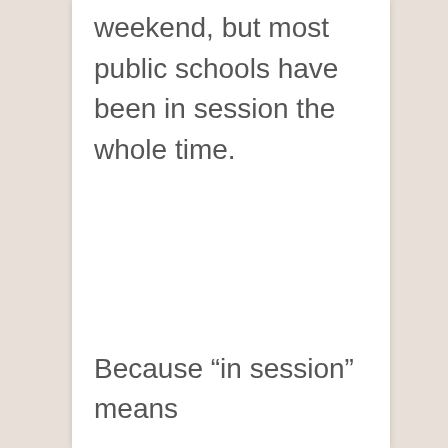weekend, but most public schools have been in session the whole time.
Because “in session” means